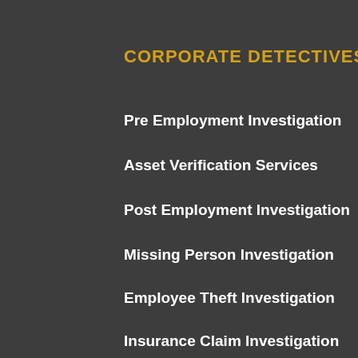CORPORATE DETECTIVES
Pre Employment Investigation
Asset Verification Services
Post Employment Investigation
Missing Person Investigation
Employee Theft Investigation
Insurance Claim Investigation
CONTACT US
Hemant Aggarwal (CEO)
kumarhemant18@gmail.com